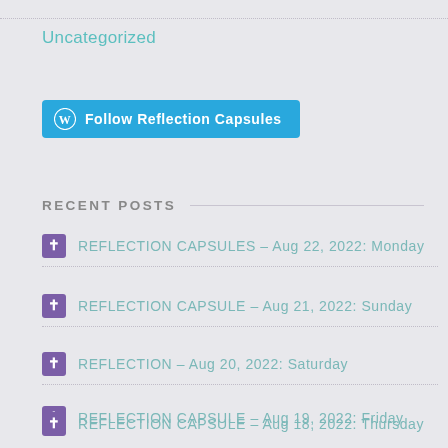Uncategorized
[Figure (other): WordPress Follow button: blue rounded rectangle with WordPress logo and text 'Follow Reflection Capsules']
RECENT POSTS
✝ REFLECTION CAPSULES – Aug 22, 2022: Monday
✝ REFLECTION CAPSULE – Aug 21, 2022: Sunday
✝ REFLECTION – Aug 20, 2022: Saturday
✝ REFLECTION CAPSULE – Aug 19, 2022: Friday
✝ REFLECTION CAPSULE – Aug 18, 2022: Thursday